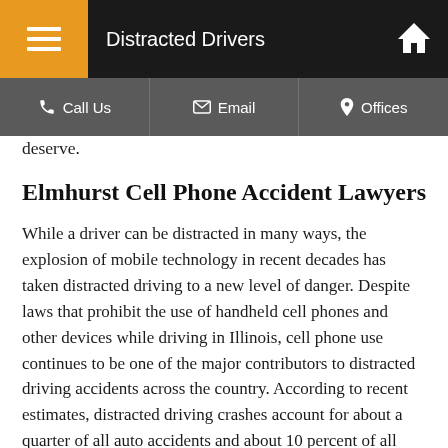Distracted Drivers
deserve.
Elmhurst Cell Phone Accident Lawyers
While a driver can be distracted in many ways, the explosion of mobile technology in recent decades has taken distracted driving to a new level of danger. Despite laws that prohibit the use of handheld cell phones and other devices while driving in Illinois, cell phone use continues to be one of the major contributors to distracted driving accidents across the country. According to recent estimates, distracted driving crashes account for about a quarter of all auto accidents and about 10 percent of all fatal accidents.
Most distracted driving accidents are completely preventable, especially when a cell phone is the source of